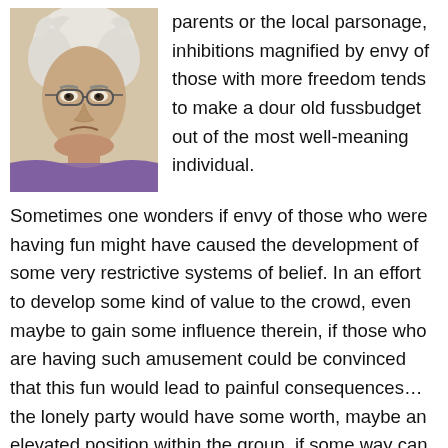[Figure (photo): Photo of an elderly woman with curly white hair, round glasses, and a frowning expression, wearing a purple patterned top.]
parents or the local parsonage, inhibitions magnified by envy of those with more freedom tends to make a dour old fussbudget out of the most well-meaning individual.
Sometimes one wonders if envy of those who were having fun might have caused the development of some very restrictive systems of belief. In an effort to develop some kind of value to the crowd, even maybe to gain some influence therein, if those who are having such amusement could be convinced that this fun would lead to painful consequences… the lonely party would have some worth, maybe an elevated position within the group, if some way can be presented to escape such a fate.
Religion needs to control, it cannot afford to become inert